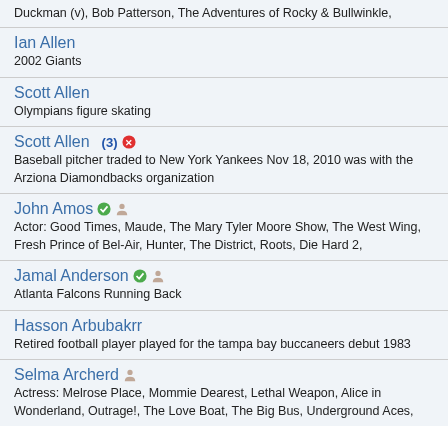Duckman (v), Bob Patterson, The Adventures of Rocky & Bullwinkle,
Ian Allen
2002 Giants
Scott Allen
Olympians figure skating
Scott Allen (3) [edit icon]
Baseball pitcher traded to New York Yankees Nov 18, 2010 was with the Arziona Diamondbacks organization
John Amos [check][person]
Actor: Good Times, Maude, The Mary Tyler Moore Show, The West Wing, Fresh Prince of Bel-Air, Hunter, The District, Roots, Die Hard 2,
Jamal Anderson [check][person]
Atlanta Falcons Running Back
Hasson Arbubakrr
Retired football player played for the tampa bay buccaneers debut 1983
Selma Archerd [person]
Actress: Melrose Place, Mommie Dearest, Lethal Weapon, Alice in Wonderland, Outrage!, The Love Boat, The Big Bus, Underground Aces,